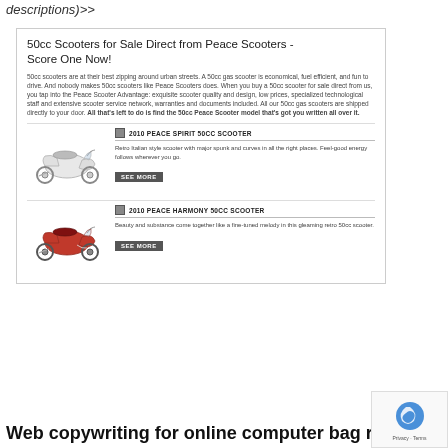descriptions)>>
50cc Scooters for Sale Direct from Peace Scooters - Score One Now!
50cc scooters are at their best zipping around urban streets. A 50cc gas scooter is economical, fuel efficient, and fun to drive. And nobody makes 50cc scooters like Peace Scooters does. When you buy a 50cc scooter for sale direct from us, you tap into the Peace Scooter Advantage: exquisite scooter quality and design, low prices, specialized technological staff and extensive scooter service network, warranties and documents included. All our 50cc gas scooters are shipped directly to your door. All that's left to do is find the 50cc Peace Scooter model that's got you written all over it.
2010 PEACE SPIRIT 50CC SCOOTER
[Figure (photo): White 50cc scooter (Peace Spirit) facing left]
Retro Italian style scooter with major spunk and curves in all the right places. Feel-good energy follows wherever you go.
SEE MORE
2010 PEACE HARMONY 50CC SCOOTER
[Figure (photo): Red 50cc scooter (Peace Harmony) facing left]
Beauty and substance come together like a fine-tuned melody in this gleaming retro 50cc scooter.
SEE MORE
Web copywriting for online computer bag reta